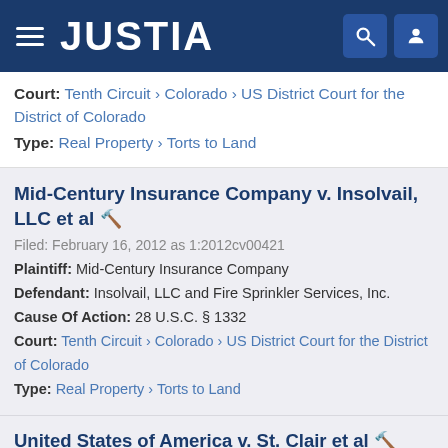JUSTIA
Court: Tenth Circuit › Colorado › US District Court for the District of Colorado
Type: Real Property › Torts to Land
Mid-Century Insurance Company v. Insolvail, LLC et al 🔨
Filed: February 16, 2012 as 1:2012cv00421
Plaintiff: Mid-Century Insurance Company
Defendant: Insolvail, LLC and Fire Sprinkler Services, Inc.
Cause Of Action: 28 U.S.C. § 1332
Court: Tenth Circuit › Colorado › US District Court for the District of Colorado
Type: Real Property › Torts to Land
United States of America v. St. Clair et al 🔨